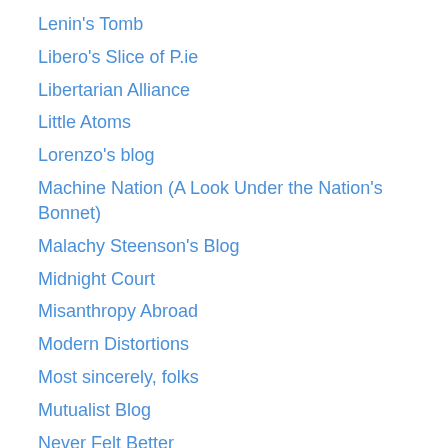Lenin's Tomb
Libero's Slice of P.ie
Libertarian Alliance
Little Atoms
Lorenzo's blog
Machine Nation (A Look Under the Nation's Bonnet)
Malachy Steenson's Blog
Midnight Court
Misanthropy Abroad
Modern Distortions
Most sincerely, folks
Mutualist Blog
Never Felt Better
Nick Cohen
Norman Geras
Notes on the Front
Oireachtas Retort
onegoodmove
Ooccasional links & commentary on economics, culture & society
Organized Rage